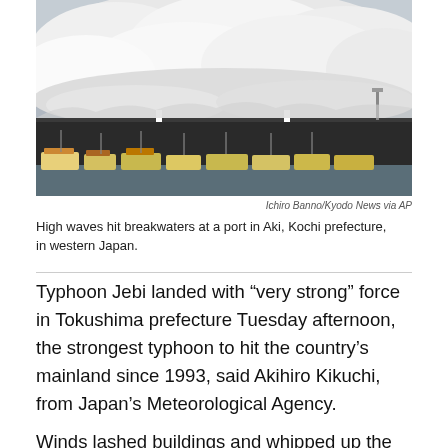[Figure (photo): Massive white waves crashing over a seawall/breakwater at a port, with small fishing boats docked below. Dramatic storm waves tower above a dark concrete pier structure.]
Ichiro Banno/Kyodo News via AP
High waves hit breakwaters at a port in Aki, Kochi prefecture, in western Japan.
Typhoon Jebi landed with “very strong” force in Tokushima prefecture Tuesday afternoon, the strongest typhoon to hit the country’s mainland since 1993, said Akihiro Kikuchi, from Japan’s Meteorological Agency.
Winds lashed buildings and whipped up the sea